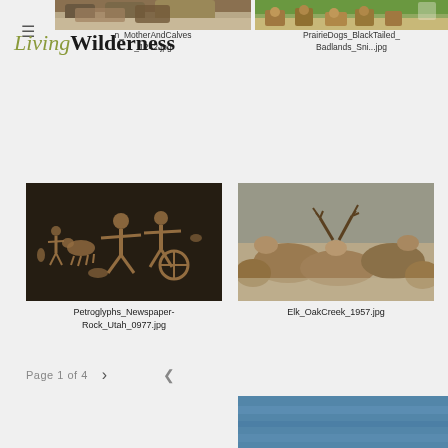≡ LivingWilderness
[Figure (photo): Partial bison mother and calves photo thumbnail at top left]
n_MotherAndCalves_1242.jpg
[Figure (photo): Prairie dogs Badlands photo thumbnail at top right]
PrairieDogs_BlackTailed_Badlands_Sni...jpg
[Figure (photo): Petroglyphs at Newspaper Rock Utah showing petroglyphs with human figures animals and a wheel on dark rock]
Petroglyphs_Newspaper-Rock_Utah_0977.jpg
[Figure (photo): Elk at Oak Creek showing group of elk with antlers resting]
Elk_OakCreek_1957.jpg
Page 1 of 4  >  <
[Figure (photo): Partial photo at bottom right, blue water or sky scene]